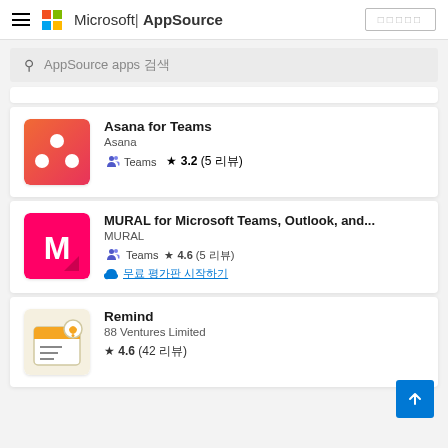Microsoft | AppSource
AppSource apps 검색
[Figure (screenshot): Asana for Teams app icon - red/orange gradient background with three white dots]
Asana for Teams
Asana
Teams  ★ 3.2 (5 리뷰)
[Figure (screenshot): MURAL for Microsoft Teams, Outlook, and... app icon - hot pink background with white letter M]
MURAL for Microsoft Teams, Outlook, and...
MURAL
Teams  ★ 4.6 (5 리뷰)
무료 평가판 시작하기
[Figure (screenshot): Remind app icon - light illustrated calendar/bell icon]
Remind
88 Ventures Limited
★ 4.6 (42 리뷰)